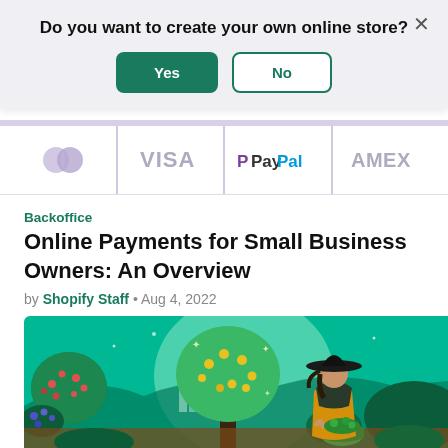Do you want to create your own online store?
[Figure (screenshot): Modal dialog with Yes and No buttons for creating an online store, and an X close button]
[Figure (infographic): Payment provider logos bar showing Mastercard, VISA, PayPal, and AMEX]
Backoffice
Online Payments for Small Business Owners: An Overview
by Shopify Staff · Aug 4, 2022
[Figure (illustration): Illustration of a woman in a wide-brimmed hat holding a basket of produce, standing near a large green tree with yellow fruit, surrounded by fruit trees and a city skyline in the background on a teal/green background]